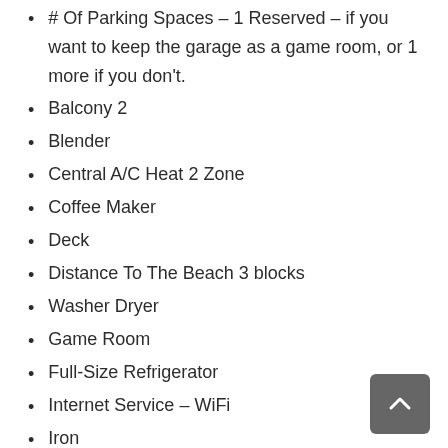# Of Parking Spaces – 1 Reserved – if you want to keep the garage as a game room, or 1 more if you don't.
Balcony 2
Blender
Central A/C Heat 2 Zone
Coffee Maker
Deck
Distance To The Beach 3 blocks
Washer Dryer
Game Room
Full-Size Refrigerator
Internet Service – WiFi
Iron